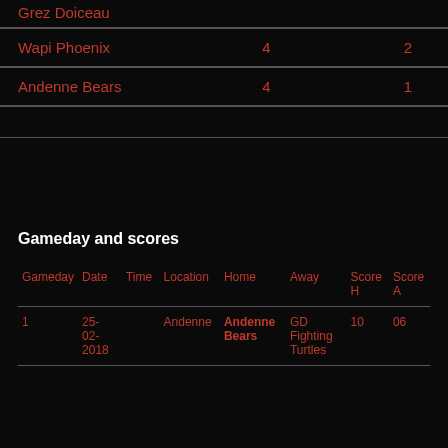| Team | Col1 | Col2 |
| --- | --- | --- |
| Grez Doiceau |  |  |
| Wapi Phoenix | 4 | 2 |
| Andenne Bears | 4 | 1 |
|  |  |  |
Gameday and scores
| Gameday | Date | Time | Location | Home | Away | Score H | Score A |
| --- | --- | --- | --- | --- | --- | --- | --- |
| 1 | 25-02-2018 |  | Andenne | Andenne Bears | GD Fighting Turtles | 10 | 06 |